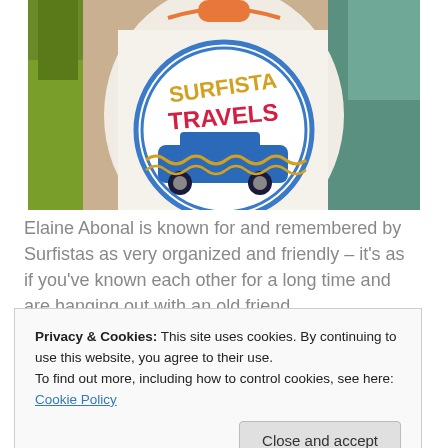[Figure (photo): Photo of a person holding a white t-shirt with a circular logo reading 'SURFISTA TRAVELS' with a blue illustrated vehicle amid waves. Background shows green foliage and a colorful setting.]
Elaine Abonal is known for and remembered by Surfistas as very organized and friendly – it's as if you've known each other for a long time and are hanging out with an old friend.
Privacy & Cookies: This site uses cookies. By continuing to use this website, you agree to their use.
To find out more, including how to control cookies, see here: Cookie Policy
Close and accept